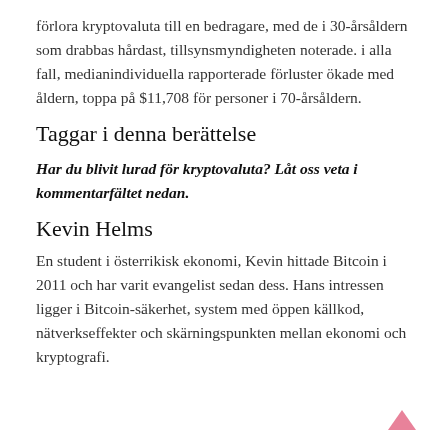förlora kryptovaluta till en bedragare, med de i 30-årsåldern som drabbas hårdast, tillsynsmyndigheten noterade. i alla fall, medianindividuella rapporterade förluster ökade med åldern, toppa på $11,708 för personer i 70-årsåldern.
Taggar i denna berättelse
Har du blivit lurad för kryptovaluta? Låt oss veta i kommentarfältet nedan.
Kevin Helms
En student i österrikisk ekonomi, Kevin hittade Bitcoin i 2011 och har varit evangelist sedan dess. Hans intressen ligger i Bitcoin-säkerhet, system med öppen källkod, nätverkseffekter och skärningspunkten mellan ekonomi och kryptografi.